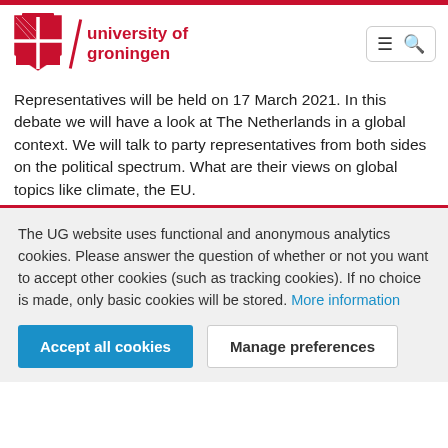university of groningen
Representatives will be held on 17 March 2021. In this debate we will have a look at The Netherlands in a global context. We will talk to party representatives from both sides on the political spectrum. What are their views on global topics like climate, the EU.
The UG website uses functional and anonymous analytics cookies. Please answer the question of whether or not you want to accept other cookies (such as tracking cookies). If no choice is made, only basic cookies will be stored. More information
Accept all cookies
Manage preferences